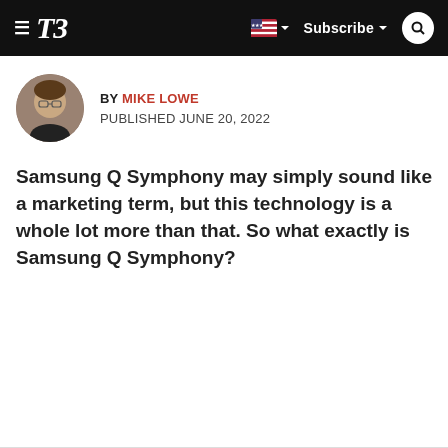T3 — Subscribe
BY MIKE LOWE
PUBLISHED JUNE 20, 2022
Samsung Q Symphony may simply sound like a marketing term, but this technology is a whole lot more than that. So what exactly is Samsung Q Symphony?